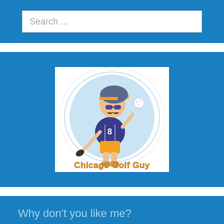Search ...
[Figure (logo): Chicago Golf Guy logo: cartoon golfer wearing sunglasses, orange-brimmed grey cap, orange shorts, grey jersey with number 8, swinging a golf club, with text 'Chicago Golf Guy' in orange bubble letters]
Why don't you like me?